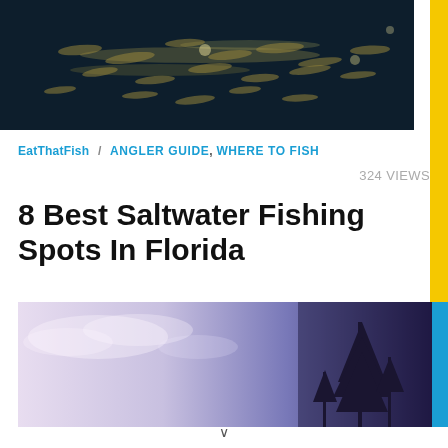[Figure (photo): Underwater photo showing a school of fish swimming in dark blue-green water with light reflections]
EatThatFish / ANGLER GUIDE, WHERE TO FISH
324 VIEWS
8 Best Saltwater Fishing Spots In Florida
[Figure (photo): Scenic outdoor photo with pale purple sky, clouds, and dark tree silhouettes]